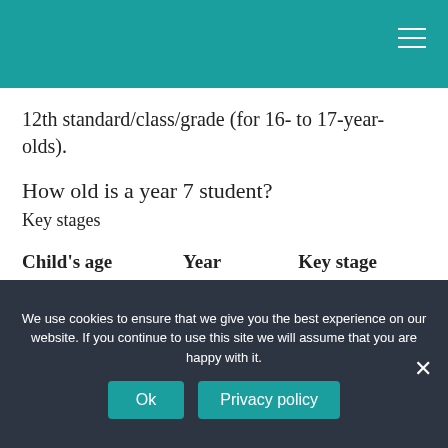12th standard/class/grade (for 16- to 17-year-olds).
How old is a year 7 student?
Key stages
| Child's age | Year | Key stage |
| --- | --- | --- |
| 9 to 10 | Year 5 | KS2 |
| 10 to 11 | Year 6 | KS2 |
We use cookies to ensure that we give you the best experience on our website. If you continue to use this site we will assume that you are happy with it.